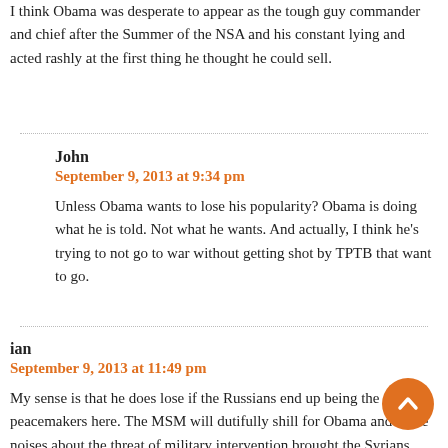I think Obama was desperate to appear as the tough guy commander and chief after the Summer of the NSA and his constant lying and acted rashly at the first thing he thought he could sell.
John
September 9, 2013 at 9:34 pm
Unless Obama wants to lose his popularity? Obama is doing what he is told. Not what he wants. And actually, I think he's trying to not go to war without getting shot by TPTB that want to go.
ian
September 9, 2013 at 11:49 pm
My sense is that he does lose if the Russians end up being the peacemakers here. The MSM will dutifully shill for Obama and make noises about the threat of military intervention brought the Syrians around, etc… But subliminally, in the back of their minds, people will kno that Obama painted himself into a corner and Putin go him out. The irony is almost too much – the Nobel Peace